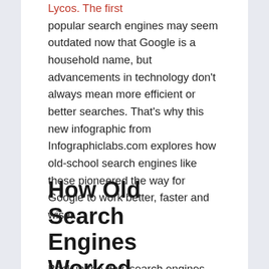Lycos. The first popular search engines may seem outdated now that Google is a household name, but advancements in technology don't always mean more efficient or better searches. That's why this new infographic from Infographiclabs.com explores how old-school search engines like these pioneered the way for Google to work better, faster and wiser.
How Old Search Engines Worked
Back in the day, search engines started to grow and